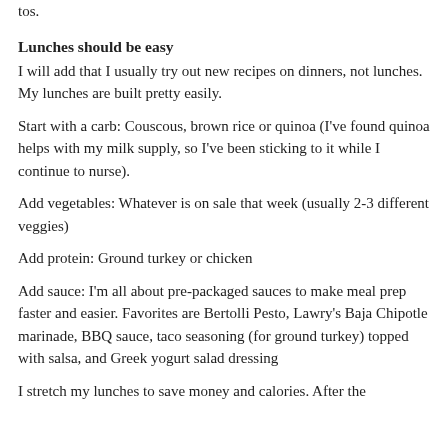tos.
Lunches should be easy
I will add that I usually try out new recipes on dinners, not lunches. My lunches are built pretty easily.
Start with a carb: Couscous, brown rice or quinoa (I've found quinoa helps with my milk supply, so I've been sticking to it while I continue to nurse).
Add vegetables: Whatever is on sale that week (usually 2-3 different veggies)
Add protein: Ground turkey or chicken
Add sauce: I'm all about pre-packaged sauces to make meal prep faster and easier. Favorites are Bertolli Pesto, Lawry's Baja Chipotle marinade, BBQ sauce, taco seasoning (for ground turkey) topped with salsa, and Greek yogurt salad dressing
I stretch my lunches to save money and calories. After the